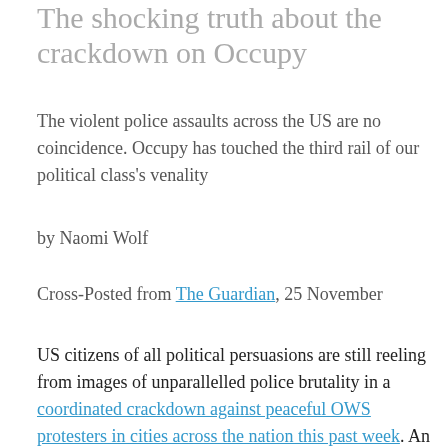The shocking truth about the crackdown on Occupy
The violent police assaults across the US are no coincidence. Occupy has touched the third rail of our political class's venality
by Naomi Wolf
Cross-Posted from The Guardian, 25 November
US citizens of all political persuasions are still reeling from images of unparallelled police brutality in a coordinated crackdown against peaceful OWS protesters in cities across the nation this past week. An elderly woman was pepper-sprayed in the face; the scene of unresisting, supine students at UC Davis being pepper-sprayed by phalanxes of